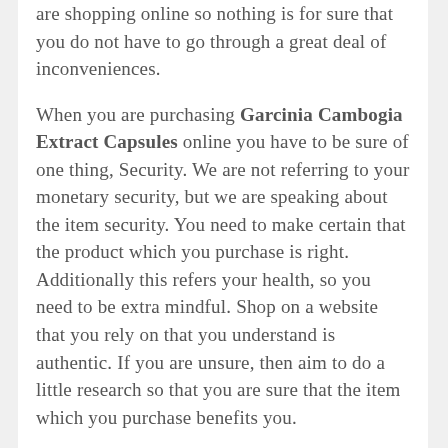are shopping online so nothing is for sure that you do not have to go through a great deal of inconveniences.
When you are purchasing Garcinia Cambogia Extract Capsules online you have to be sure of one thing, Security. We are not referring to your monetary security, but we are speaking about the item security. You need to make certain that the product which you purchase is right. Additionally this refers your health, so you need to be extra mindful. Shop on a website that you rely on that you understand is authentic. If you are unsure, then aim to do a little research so that you are sure that the item which you purchase benefits you.
Purchasing A Garcinia